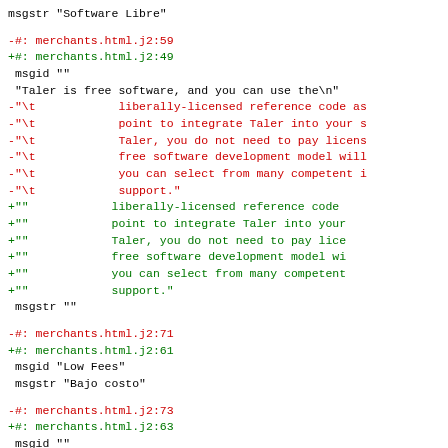msgstr "Software Libre"

-#: merchants.html.j2:59
+#: merchants.html.j2:49
 msgid ""
 "Taler is free software, and you can use the\n"
-"\t            liberally-licensed reference code as
-"\t            point to integrate Taler into your s
-"\t            Taler, you do not need to pay licens
-"\t            free software development model will
-"\t            you can select from many competent i
-"\t            support."
+"            liberally-licensed reference code
+"            point to integrate Taler into your
+"            Taler, you do not need to pay lice
+"            free software development model wi
+"            you can select from many competent
+"            support."
 msgstr ""

-#: merchants.html.j2:71
+#: merchants.html.j2:61
 msgid "Low Fees"
 msgstr "Bajo costo"

-#: merchants.html.j2:73
+#: merchants.html.j2:63
 msgid ""
 "Taler is designed to minimize the work the exchan
-"\t            needs to perform.  Combined with Tal